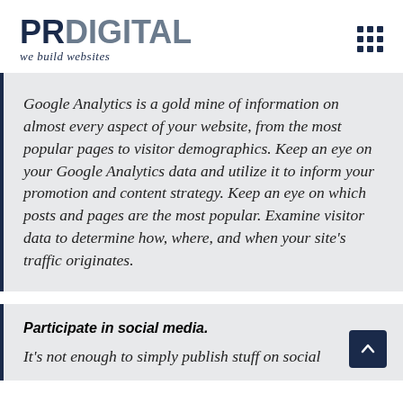PRDIGITAL we build websites
Google Analytics is a gold mine of information on almost every aspect of your website, from the most popular pages to visitor demographics. Keep an eye on your Google Analytics data and utilize it to inform your promotion and content strategy. Keep an eye on which posts and pages are the most popular. Examine visitor data to determine how, where, and when your site’s traffic originates.
Participate in social media.
It’s not enough to simply publish stuff on social